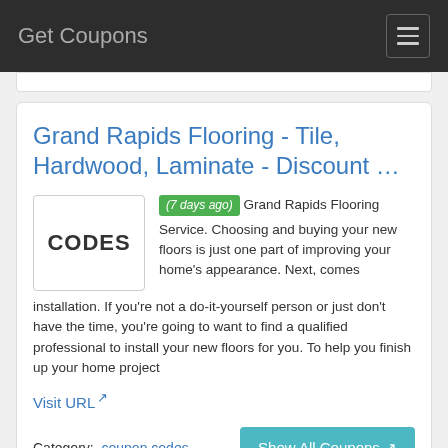Get Coupons
Grand Rapids Flooring - Tile, Hardwood, Laminate - Discount …
(7 days ago) Grand Rapids Flooring Service. Choosing and buying your new floors is just one part of improving your home's appearance. Next, comes installation. If you're not a do-it-yourself person or just don't have the time, you're going to want to find a qualified professional to install your new floors for you. To help you finish up your home project
Visit URL
Category:  coupon codes